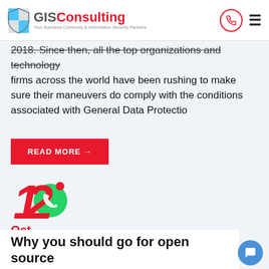GISConsulting - Your Business Continuity & Information Security Partners
2018. Since then, all the top organizations and technology firms across the world have been rushing to make sure their maneuvers do comply with the conditions associated with General Data Protectio
READ MORE →
[Figure (illustration): Large red number 12 with WhatsApp icon overlaid]
Oct
[Figure (infographic): Blue phone icon circle with USA +1 (240) 720-2889 red pill button]
Why you should go for open source